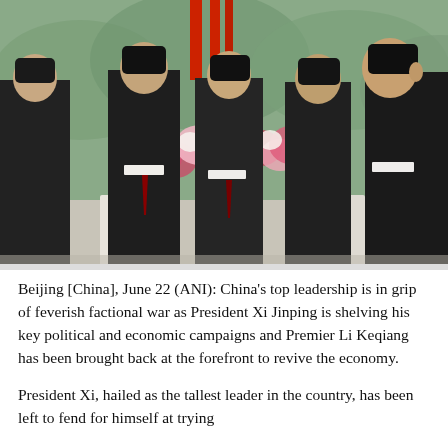[Figure (photo): Several Chinese officials in dark suits standing in a row from behind, with colorful floral arrangements and red ribbons visible in the background, outdoors at what appears to be an official ceremony.]
Beijing [China], June 22 (ANI): China's top leadership is in grip of feverish factional war as President Xi Jinping is shelving his key political and economic campaigns and Premier Li Keqiang has been brought back at the forefront to revive the economy.
President Xi, hailed as the tallest leader in the country, has been left to fend for himself at trying...